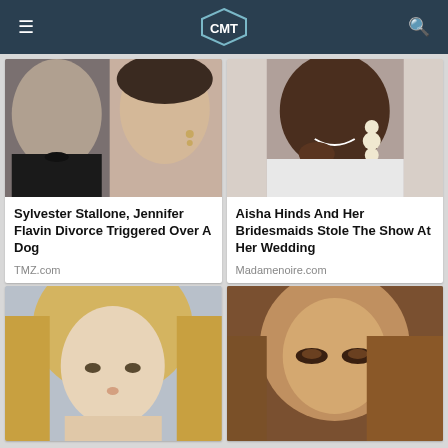CMT
[Figure (photo): Sylvester Stallone and Jennifer Flavin close-up portrait]
Sylvester Stallone, Jennifer Flavin Divorce Triggered Over A Dog
TMZ.com
[Figure (photo): Aisha Hinds smiling close-up portrait with pearl earrings]
Aisha Hinds And Her Bridesmaids Stole The Show At Her Wedding
Madamenoire.com
[Figure (photo): Blonde woman close-up portrait]
[Figure (photo): Woman with auburn hair and dramatic eye makeup close-up portrait]